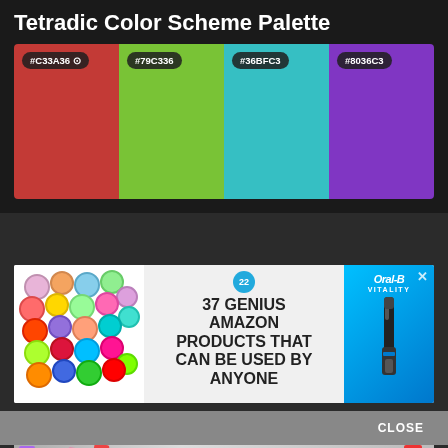Tetradic Color Scheme Palette
[Figure (infographic): Tetradic color palette showing four color swatches: #C33A36 (red), #79C336 (green), #36BFC3 (teal), #8036C3 (purple)]
[Figure (infographic): Advertisement: 37 Genius Amazon Products That Can Be Used By Anyone, with colorful scrunchies on left and Oral-B Vitality toothbrush on right]
[Figure (infographic): MAC cosmetics advertisement showing lipsticks with 'MAC' logo and 'SHOP NOW' button]